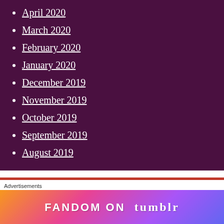April 2020
March 2020
February 2020
January 2020
December 2019
November 2019
October 2019
September 2019
August 2019
The Launch of Ukraine Today .org
Advertisements
[Figure (illustration): FANDOM ON tumblr advertisement banner with colorful gradient background]